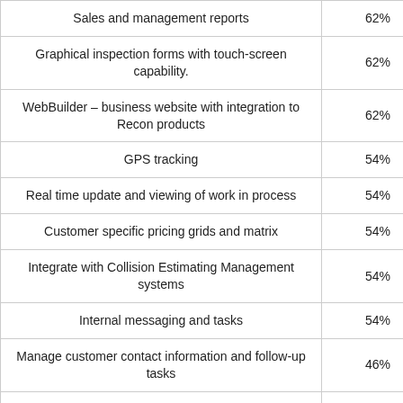| Feature | Percentage |
| --- | --- |
| Sales and management reports | 62% |
| Graphical inspection forms with touch-screen capability. | 62% |
| WebBuilder – business website with integration to Recon products | 62% |
| GPS tracking | 54% |
| Real time update and viewing of work in process | 54% |
| Customer specific pricing grids and matrix | 54% |
| Integrate with Collision Estimating Management systems | 54% |
| Internal messaging and tasks | 54% |
| Manage customer contact information and follow-up tasks | 46% |
| Track employee timesheets | 46% |
| Track commissions | 46% |